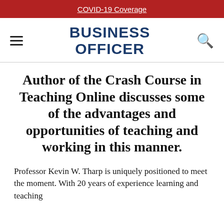COVID-19 Coverage
[Figure (logo): Business Officer magazine logo with hamburger menu icon and search icon]
Author of the Crash Course in Teaching Online discusses some of the advantages and opportunities of teaching and working in this manner.
Professor Kevin W. Tharp is uniquely positioned to meet the moment. With 20 years of experience learning and teaching